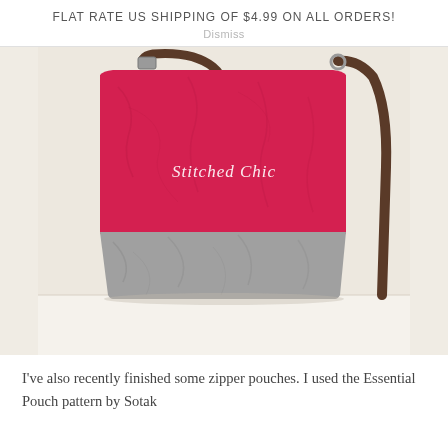FLAT RATE US SHIPPING OF $4.99 ON ALL ORDERS!
Dismiss
[Figure (photo): A waxed canvas crossbody bag with a pink/red upper body and grey lower body, with a brown leather strap. The bag has 'Stitched Chic' embroidered in white script on the front. The bag sits on a light surface against a warm neutral background.]
I've also recently finished some zipper pouches. I used the Essential Pouch pattern by Sotak